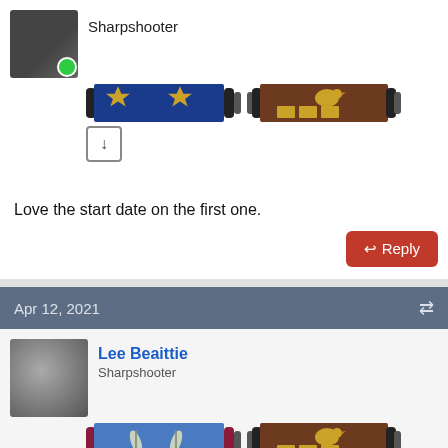[Figure (screenshot): User avatar with green online indicator dot, username Sharpshooter, game badge ribbons]
[Figure (illustration): Two game/military ribbon badges: blue with gold stars, and brown with gold blocks and a chicken figurine]
Love the start date on the first one.
Reply
Apr 12, 2021
[Figure (screenshot): User avatar, username Lee Beaittie, rank Sharpshooter, game badge ribbons]
[Figure (illustration): Two game ribbons: blue-purple with wheat/leaf sprigs, and brown with gold blocks and chicken figurine]
Damn , That means I'd have to take a pay cut.....shhheeesh
Reply